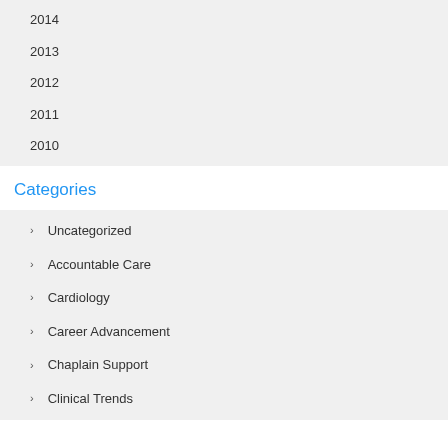2014
2013
2012
2011
2010
Categories
Uncategorized
Accountable Care
Cardiology
Career Advancement
Chaplain Support
Clinical Trends